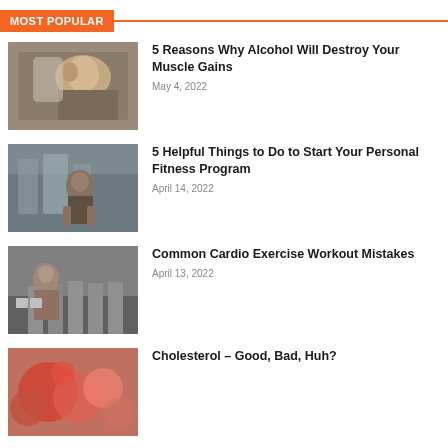MOST POPULAR
5 Reasons Why Alcohol Will Destroy Your Muscle Gains — May 4, 2022
5 Helpful Things to Do to Start Your Personal Fitness Program — April 14, 2022
Common Cardio Exercise Workout Mistakes — April 13, 2022
Cholesterol – Good, Bad, Huh?